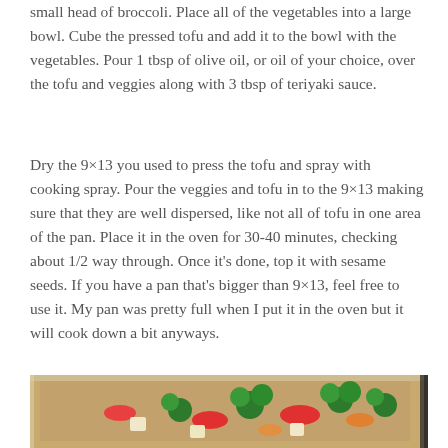small head of broccoli. Place all of the vegetables into a large bowl. Cube the pressed tofu and add it to the bowl with the vegetables. Pour 1 tbsp of olive oil, or oil of your choice, over the tofu and veggies along with 3 tbsp of teriyaki sauce.
Dry the 9×13 you used to press the tofu and spray with cooking spray. Pour the veggies and tofu in to the 9×13 making sure that they are well dispersed, like not all of tofu in one area of the pan. Place it in the oven for 30-40 minutes, checking about 1/2 way through. Once it's done, top it with sesame seeds. If you have a pan that's bigger than 9×13, feel free to use it. My pan was pretty full when I put it in the oven but it will cook down a bit anyways.
[Figure (photo): Photo of a glass 9x13 baking dish filled with broccoli, red peppers, carrots, and cubed tofu, ready to go in the oven.]